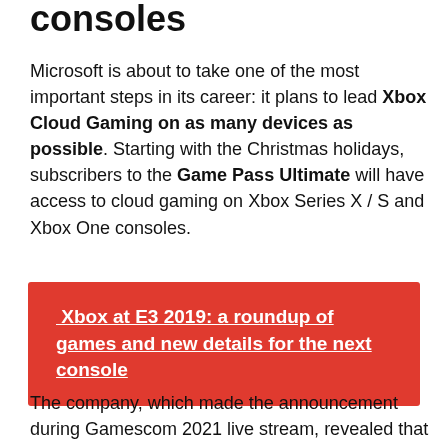consoles
Microsoft is about to take one of the most important steps in its career: it plans to lead Xbox Cloud Gaming on as many devices as possible. Starting with the Christmas holidays, subscribers to the Game Pass Ultimate will have access to cloud gaming on Xbox Series X / S and Xbox One consoles.
Xbox at E3 2019: a roundup of games and new details for the next console
The company, which made the announcement during Gamescom 2021 live stream, revealed that